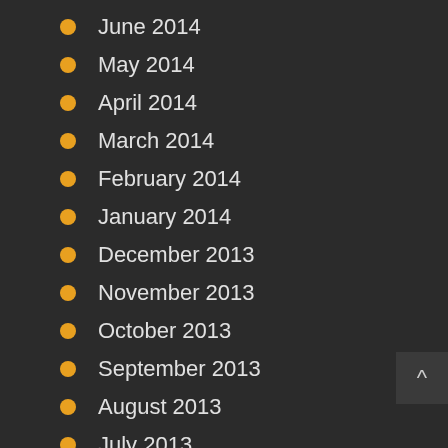June 2014
May 2014
April 2014
March 2014
February 2014
January 2014
December 2013
November 2013
October 2013
September 2013
August 2013
July 2013
June 2013
May 2013
April 2013